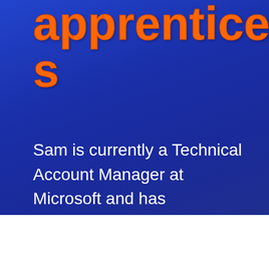apprenticeships
Sam is currently a Technical Account Manager at Microsoft and has successfully completed his technical sales apprenticeship programme.